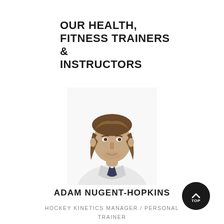OUR HEALTH, FITNESS TRAINERS & INSTRUCTORS
[Figure (photo): Headshot photo of Adam Nugent-Hopkins, a man with medium-length brown hair wearing a white polo shirt with dark accents, shown from chest up against white background]
ADAM NUGENT-HOPKINS
HOCKEY KINETICS MANAGER / PERSONAL TRAINER